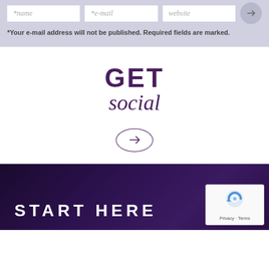[Figure (screenshot): Web form with three input fields labeled *name, *e-mail, website, and an arrow submit button, on a light lavender background]
*Your e-mail address will not be published. Required fields are marked.
GET social
[Figure (illustration): Circle with right-pointing arrow inside, purple outline]
START HERE
[Figure (illustration): reCAPTCHA widget showing the reCAPTCHA logo and Privacy - Terms text]